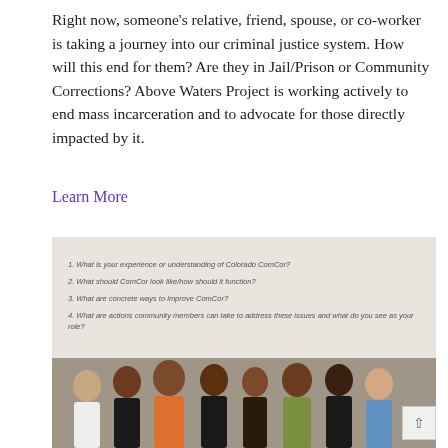Right now, someone's relative, friend, spouse, or co-worker is taking a journey into our criminal justice system. How will this end for them? Are they in Jail/Prison or Community Corrections? Above Waters Project is working actively to end mass incarceration and to advocate for those directly impacted by it.
Learn More
[Figure (photo): A group photo of approximately 8 people standing together in front of a projected presentation slide. The slide shows questions about Colorado ComCor including: 1. What is your experience or understanding of Colorado ComCor? 2. What should ComCor look like/how should it function? 3. What are concrete ways to improve ComCor? 4. What are actions community members can take to address these issues and what do you see as your role?]